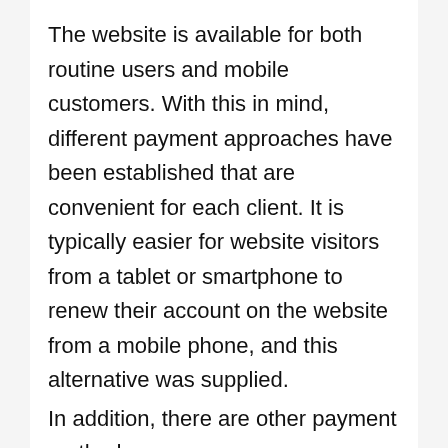The website is available for both routine users and mobile customers. With this in mind, different payment approaches have been established that are convenient for each client. It is typically easier for website visitors from a tablet or smartphone to renew their account on the website from a mobile phone, and this alternative was supplied. In addition, there are other payment methods:
Credit/Debit Card
Paysafecard